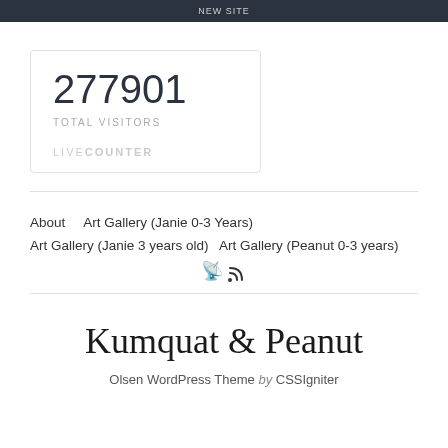NEW SITE
[Figure (other): Live counter widget box showing 277901 total visitors with LIVECOUNTER branding]
About    Art Gallery (Janie 0-3 Years)
Art Gallery (Janie 3 years old)    Art Gallery (Peanut 0-3 years)
Kumquat & Peanut
Olsen WordPress Theme by CSSIgniter